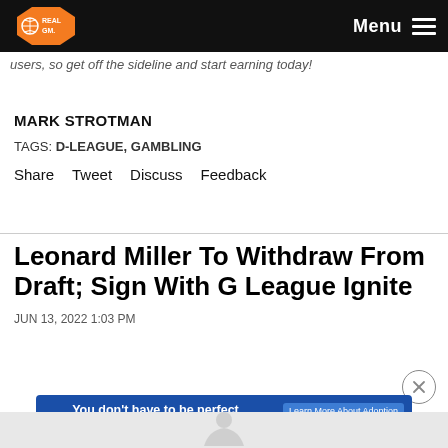RealGM — Menu
users, so get off the sideline and start earning today!
MARK STROTMAN
TAGS: D-LEAGUE, GAMBLING
Share  Tweet  Discuss  Feedback
Leonard Miller To Withdraw From Draft; Sign With G League Ignite
JUN 13, 2022 1:03 PM
[Figure (infographic): Advertisement banner: You don't have to be perfect to be a perfect parent. Learn More About Adoption. Adopt US Kids logo.]